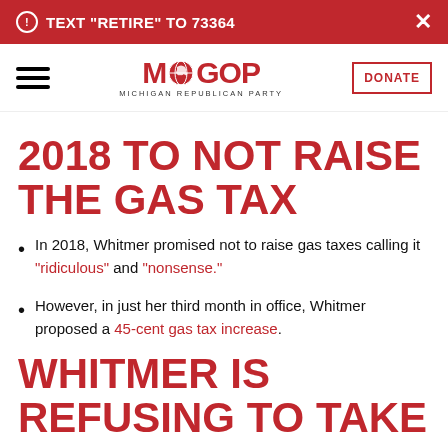TEXT "RETIRE" TO 73364
[Figure (logo): Michigan Republican Party (MIGOP) logo with globe-elephant icon]
2018 TO NOT RAISE THE GAS TAX
In 2018, Whitmer promised not to raise gas taxes calling it "ridiculous" and "nonsense."
However, in just her third month in office, Whitmer proposed a 45-cent gas tax increase.
WHITMER IS REFUSING TO TAKE